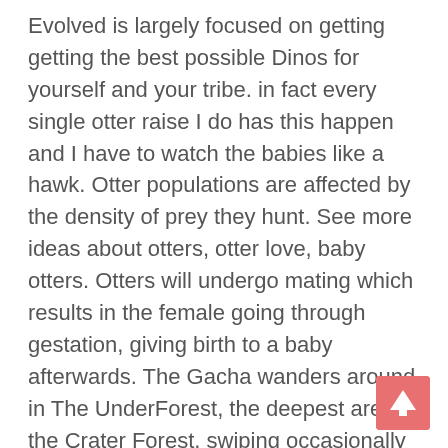Evolved is largely focused on getting getting the best possible Dinos for yourself and your tribe. in fact every single otter raise I do has this happen and I have to watch the babies like a hawk. Otter populations are affected by the density of prey they hunt. See more ideas about otters, otter love, baby otters. Otters will undergo mating which results in the female going through gestation, giving birth to a baby afterwards. The Gacha wanders around in The UnderForest, the deepest area of the Crater Forest, swiping occasionally at rocks, trees and bushes; afterwards they sit back and eat, looking around as they do so. " — In-game Description. These little guys are so much easier to tame in mobile, but harder to find. Aberrant Otters only spawn in the Aberration map at the moment. The Otter in the Ark: Survival Evolved is a friendly creature. One of the most effective ways to do that is through breeding. Otters are not the most aggressive creatures out there but they do provide the means of keeping warm and they seem to be